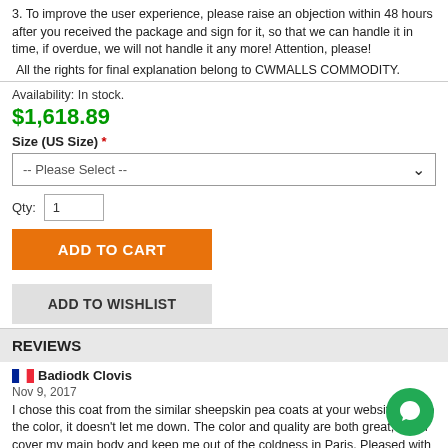3. To improve the user experience, please raise an objection within 48 hours after you received the package and sign for it, so that we can handle it in time, if overdue, we will not handle it any more! Attention, please!
All the rights for final explanation belong to CWMALLS COMMODITY.
Availability: In stock.
$1,618.89
Size (US Size) *
-- Please Select --
Qty: 1
ADD TO CART
ADD TO WISHLIST
REVIEWS
Badiodk Clovis
Nov 9, 2017
I chose this coat from the similar sheepskin pea coats at your website due to the color, it doesn't let me down. The color and quality are both great, it can cover my main body and keep me out of the coldness in Paris. Pleased with the coat.
Sarcasm Drew
Oct 17, 2017
Great sheepskin coat as described, I'm tall and thin so I don't feel looking bad in the style and color, it's very suitable for me and winter in Washington DC.